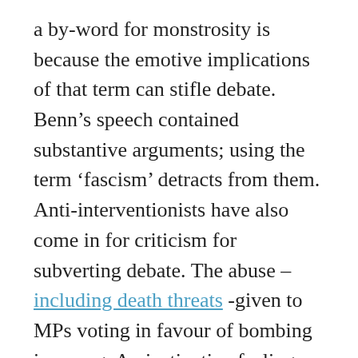a by-word for monstrosity is because the emotive implications of that term can stifle debate. Benn's speech contained substantive arguments; using the term 'fascism' detracts from them. Anti-interventionists have also come in for criticism for subverting debate. The abuse – including death threats -given to MPs voting in favour of bombing is wrong. An instinctive feeling that if individuals are prepared to vote for killing and maiming then they should be able to put up with a bit of Twitter castigation might feel right in the gut, but does not stand up to cursory scrutiny. Abuse is unpleasant, counter-productive and potentially criminal. But there are two sides to the story. Benn's highbrow